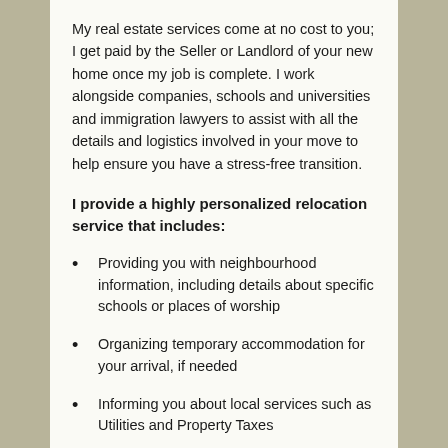My real estate services come at no cost to you; I get paid by the Seller or Landlord of your new home once my job is complete. I work alongside companies, schools and universities and immigration lawyers to assist with all the details and logistics involved in your move to help ensure you have a stress-free transition.
I provide a highly personalized relocation service that includes:
Providing you with neighbourhood information, including details about specific schools or places of worship
Organizing temporary accommodation for your arrival, if needed
Informing you about local services such as Utilities and Property Taxes